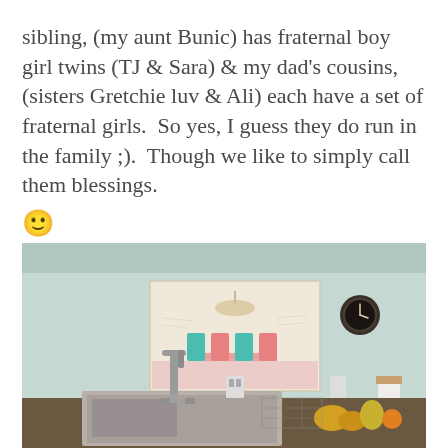sibling, (my aunt Bunic) has fraternal boy girl twins (TJ & Sara) & my dad's cousins, (sisters Gretchie luv & Ali) each have a set of fraternal girls.  So yes, I guess they do run in the family ;).  Though we like to simply call them blessings. 🙂
[Figure (photo): A kitchen interior with light mint/sage green walls. A large colorful painting/artwork hangs on the wall depicting a dining scene with chairs. A round dark clock is on the right wall. A stainless steel sink with a tall faucet is visible in the foreground. Fruits and vegetables sit on the counter near the sink. A white towel hangs on the right side.]